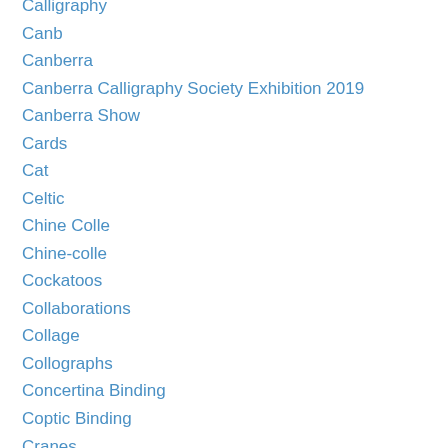Calligraphy
Canb
Canberra
Canberra Calligraphy Society Exhibition 2019
Canberra Show
Cards
Cat
Celtic
Chine Colle
Chine-colle
Cockatoos
Collaborations
Collage
Collographs
Concertina Binding
Coptic Binding
Cranes
Criss Cross Binding
Cross Structure Binding
David Jones